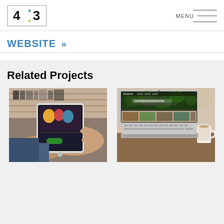4:3 — MENU
WEBSITE »
Related Projects
[Figure (photo): Person holding a tablet displaying a website with colorful imagery]
[Figure (photo): Laptop computer displaying a green-themed website with aerial photography, placed on a table with a coffee cup nearby]